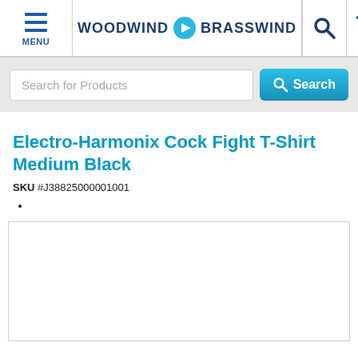WOODWIND BRASSWIND - Menu, Search, Cart
Search for Products
Electro-Harmonix Cock Fight T-Shirt Medium Black
SKU #J38825000001001
[Figure (other): White empty product image placeholder box]